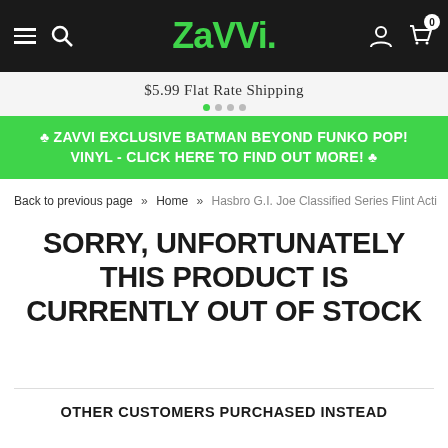Zavvi. [navigation: hamburger menu, search, logo, account, cart (0)]
$5.99 Flat Rate Shipping
🍀 ZAVVI EXCLUSIVE BATMAN BEYOND FUNKO POP! VINYL - CLICK HERE TO FIND OUT MORE! 🍀
Back to previous page » Home » Hasbro G.I. Joe Classified Series Flint Acti…
SORRY, UNFORTUNATELY THIS PRODUCT IS CURRENTLY OUT OF STOCK
OTHER CUSTOMERS PURCHASED INSTEAD